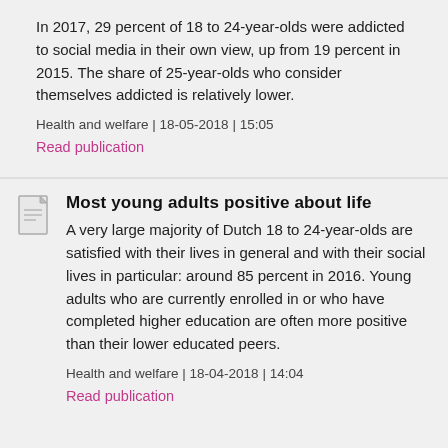In 2017, 29 percent of 18 to 24-year-olds were addicted to social media in their own view, up from 19 percent in 2015. The share of 25-year-olds who consider themselves addicted is relatively lower.
Health and welfare | 18-05-2018 | 15:05
Read publication
Most young adults positive about life
A very large majority of Dutch 18 to 24-year-olds are satisfied with their lives in general and with their social lives in particular: around 85 percent in 2016. Young adults who are currently enrolled in or who have completed higher education are often more positive than their lower educated peers.
Health and welfare | 18-04-2018 | 14:04
Read publication